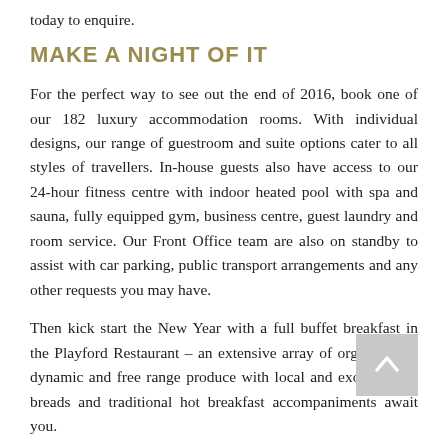today to enquire.
MAKE A NIGHT OF IT
For the perfect way to see out the end of 2016, book one of our 182 luxury accommodation rooms. With individual designs, our range of guestroom and suite options cater to all styles of travellers. In-house guests also have access to our 24-hour fitness centre with indoor heated pool with spa and sauna, fully equipped gym, business centre, guest laundry and room service. Our Front Office team are also on standby to assist with car parking, public transport arrangements and any other requests you may have.
Then kick start the New Year with a full buffet breakfast in the Playford Restaurant – an extensive array of organic, bio-dynamic and free range produce with local and exotic fruits, breads and traditional hot breakfast accompaniments await you.
They say time fly's when you're having fun! Capture the moment